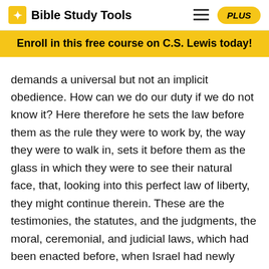Bible Study Tools
Enroll in this free course on C.S. Lewis today!
demands a universal but not an implicit obedience. How can we do our duty if we do not know it? Here therefore he sets the law before them as the rule they were to work by, the way they were to walk in, sets it before them as the glass in which they were to see their natural face, that, looking into this perfect law of liberty, they might continue therein. These are the testimonies, the statutes, and the judgments, the moral, ceremonial, and judicial laws, which had been enacted before, when Israel had newly come out of Egypt, and were now repeated, on this side Jordan, v. 44-46. The place where Moses gave them these laws in charge is here particularly described. (1.) It was over-against Beth-peor, an idol-temple of the Moabites, which perhaps Moses sometimes looked towards, with a